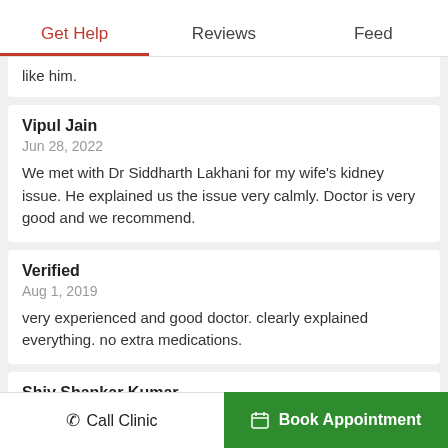Get Help | Reviews | Feed
like him.
Vipul Jain
Jun 28, 2022
We met with Dr Siddharth Lakhani for my wife's kidney issue. He explained us the issue very calmly. Doctor is very good and we recommend.
Verified
Aug 1, 2019
very experienced and good doctor. clearly explained everything. no extra medications.
Shiv Shankar Kumar
Nov 22, 2019
good and friendly dr.very cooperative